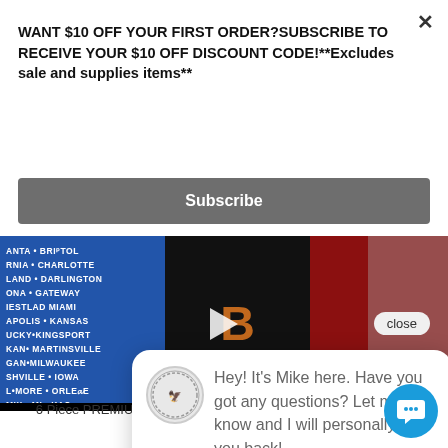WANT $10 OFF YOUR FIRST ORDER?SUBSCRIBE TO RECEIVE YOUR $10 OFF DISCOUNT CODE!**Excludes sale and supplies items**
Subscribe
[Figure (screenshot): Video thumbnail showing stacked NASCAR/Racing/Biker t-shirts and sweatshirts in blue, black and red colors with various location text on the left shirt]
close
Hey! It's Mike here. Have you got any questions? Let me know and I will personally text you back!
6 Piece PREMIUM Nascar/Racing/Biker T-shirt & Swea Wholesale Bundle